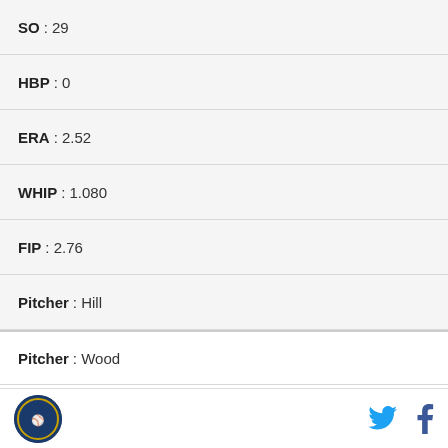| Stat | Value |
| --- | --- |
| SO | 29 |
| HBP | 0 |
| ERA | 2.52 |
| WHIP | 1.080 |
| FIP | 2.76 |
| Pitcher | Hill |
| Pitcher | Wood |
| G | 5 |
| GS | 5 |
| W | 3 |
| L | 0 |
Logo | Twitter | Facebook